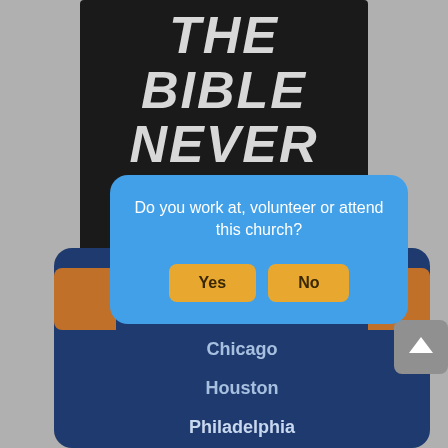[Figure (screenshot): Book cover with dark leather texture showing title 'The Bible Never Said That' in large italic bold white/gray text]
[Figure (screenshot): Dark blue panel with city list: Chicago, Houston, Philadelphia, Cleveland, Los Angeles, with orange tab icons on left and right sides]
[Figure (screenshot): Modal dialog overlay with blue background asking 'Do you work at, volunteer or attend this church?' with Yes and No buttons in amber/gold color]